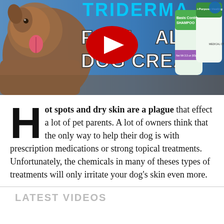[Figure (screenshot): YouTube video thumbnail showing a dog with tongue out, product bottles (TriDerma shampoo and cream), and text overlay reading 'FAST HEALING DOG CREAM' with a YouTube play button icon in the center.]
Hot spots and dry skin are a plague that effect a lot of pet parents. A lot of owners think that the only way to help their dog is with prescription medications or strong topical treatments. Unfortunately, the chemicals in many of theses types of treatments will only irritate your dog's skin even more.
LATEST VIDEOS